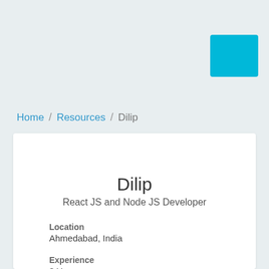[Figure (other): Cyan/blue square button in upper right of page header area]
Home / Resources / Dilip
Dilip
React JS and Node JS Developer
Location
Ahmedabad, India
Experience
3 Year